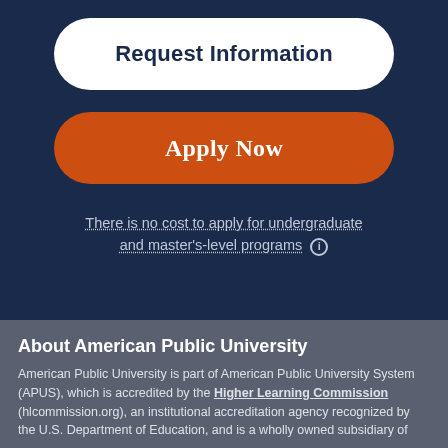Request Information
Apply Now
There is no cost to apply for undergraduate and master's-level programs ℹ
About American Public University
American Public University is part of American Public University System (APUS), which is accredited by the Higher Learning Commission (hlcommission.org), an institutional accreditation agency recognized by the U.S. Department of Education, and is a wholly owned subsidiary of